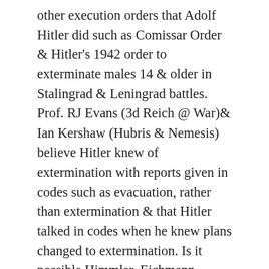other execution orders that Adolf Hitler did such as Comissar Order & Hitler's 1942 order to exterminate males 14 & older in Stalingrad & Leningrad battles. Prof. RJ Evans (3d Reich @ War)& Ian Kershaw (Hubris & Nemesis) believe Hitler knew of extermination with reports given in codes such as evacuation, rather than extermination & that Hitler talked in codes when he knew plans changed to extermination. Is it possible Himmler, Eichmann, Heydrich & others did extermination w/o Hitler's knowledge? Know people will differ but it's possible Adolf Hitler wanted to get rid of Jews, his henchmen believed it meant extermination & they did extermination when Hitler wanted ethniccleaning not extermination. Ian Kershaw & Prof. RJ Evans are good historians. Just saying my view is that it's possible Hitler wanted ethniccleaning only but his